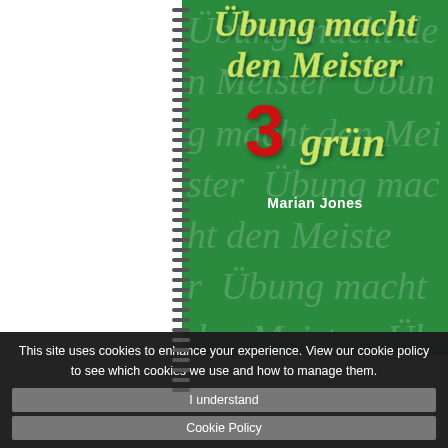[Figure (illustration): Book cover of 'Übung macht den Meister 3 grün' by Marian Jones. Green cover with spiral binding on left side, italic watermark text repeated in background, large green italic title text, red number 3, green italic 'grün', and white bold author name.]
This site uses cookies to enhance your experience. View our cookie policy to see which cookies we use and how to manage them.
I understand
Cookie Policy